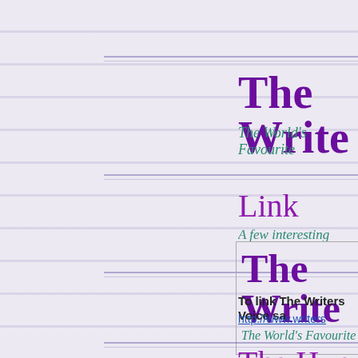The Write
The World's Favourite
Link
A few interesting
[Figure (other): Box containing The Writers Voice logo with title 'The Write' and subtitle 'The World's Favourite']
To link The Writers Voice sa
http://www.writers
The Hun